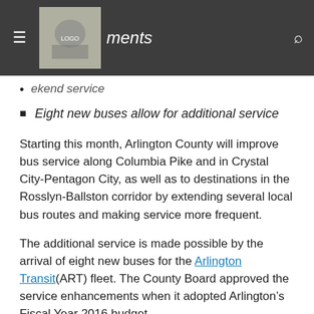ments
ekend service
Eight new buses allow for additional service
Starting this month, Arlington County will improve bus service along Columbia Pike and in Crystal City-Pentagon City, as well as to destinations in the Rosslyn-Ballston corridor by extending several local bus routes and making service more frequent.
The additional service is made possible by the arrival of eight new buses for the Arlington Transit(ART) fleet. The County Board approved the service enhancements when it adopted Arlington’s Fiscal Year 2016 budget.
“These bus service improvements are a first step in meeting the current transit needs for Columbia Pike and Crystal City-Pentagon City, as we work to create vibrant, sustainable neighborhoods along these corridors,” said